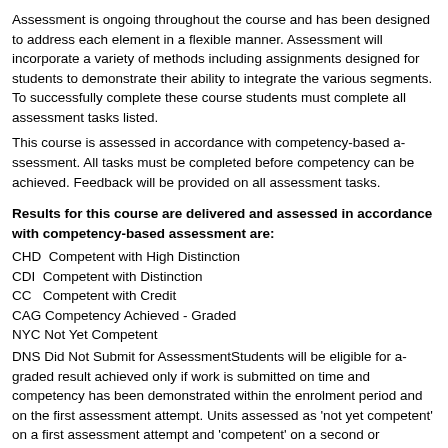Assessment is ongoing throughout the course and has been designed to address each element in a flexible manner. Assessment will incorporate a variety of methods including assignments designed for students to demonstrate their ability to integrate the various segments. To successfully complete these course students must complete all assessment tasks listed.
This course is assessed in accordance with competency-based assessment. All tasks must be completed before competency can be achieved. Feedback will be provided on all assessment tasks.
Results for this course are delivered and assessed in accordance with competency-based assessment are:
CHD  Competent with High Distinction
CDI  Competent with Distinction
CC   Competent with Credit
CAG  Competency Achieved - Graded
NYC  Not Yet Competent
DNS  Did Not Submit for AssessmentStudents will be eligible for a graded result achieved only if work is submitted on time and competency has been demonstrated within the enrolment period and on the first assessment attempt. Units assessed as 'not yet competent' on a first assessment attempt and 'competent' on a second or subsequent attempt will be deemed competent but will not be eligible for grading. Students are advised that trainers may ask them to demonstrate their assessment work to confirm aspects of competency.